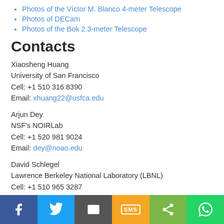Photos of the Víctor M. Blanco 4-meter Telescope
Photos of DECam
Photos of the Bok 2.3-meter Telescope
Contacts
Xiaosheng Huang
University of San Francisco
Cell: +1 510 316 8390
Email: xhuang22@usfca.edu
Arjun Dey
NSF's NOIRLab
Cell: +1 520 981 9024
Email: dey@noao.edu
David Schlegel
Lawrence Berkeley National Laboratory (LBNL)
Cell: +1 510 965 3287
Email: djschlegel@lbl.gov
Amanda Kocz
NSF's NOIRLab
Cell: +1 626 524 5994